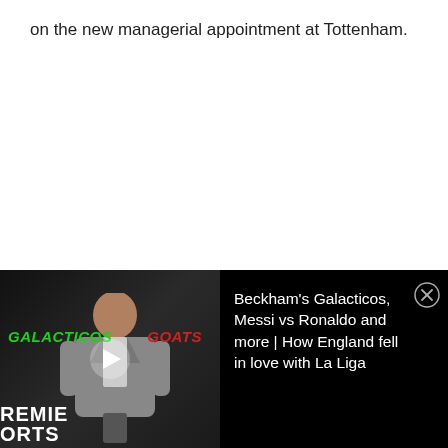on the new managerial appointment at Tottenham.
[Figure (photo): Video thumbnail showing a man in a suit jacket at a Premier Sports broadcast desk, with 'GALACTICOS' in green and 'GOATS' in red overlaid text. A play button is shown in the center.]
Beckham's Galacticos, Messi vs Ronaldo and more | How England fell in love with La Liga